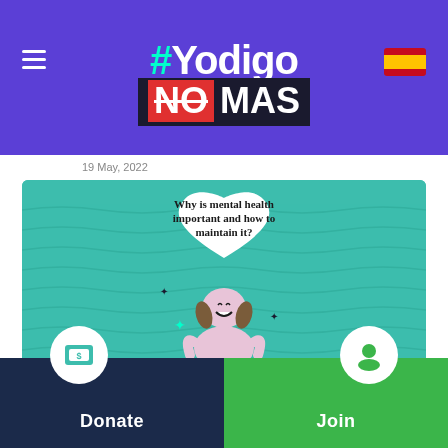#YodigoNO MAS
19 May, 2022
[Figure (illustration): Illustration of a happy girl with a large white heart above her head and the text 'Why is mental health important and how to maintain it?' on a teal wavy background.]
Why mental health impor' and to maintain it
Donate
Join